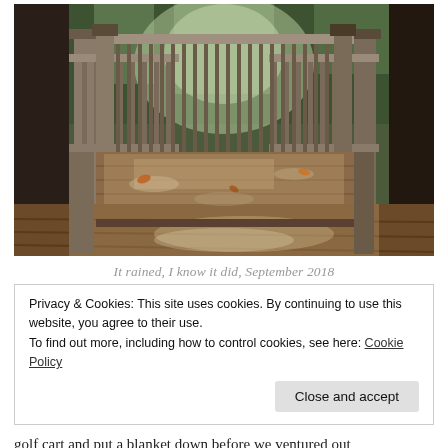[Figure (photo): A wet wooden deck with railing and balusters, surrounded by trees. The deck boards are shiny from rain, with fallen leaves scattered on the surface. The photo is taken from the deck looking toward a gate/opening in the railing, with forest visible in the background.]
It rained, I know it did, September 2018
Privacy & Cookies: This site uses cookies. By continuing to use this website, you agree to their use.
To find out more, including how to control cookies, see here: Cookie Policy
Close and accept
golf cart and put a blanket down before we ventured out